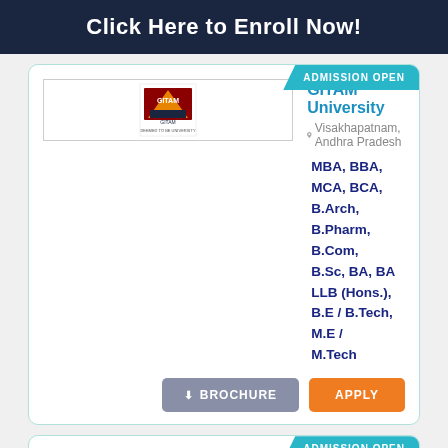Click Here to Enroll Now!
ADMISSION OPEN
GITAM University
Visakhapatnam, Andhra Pradesh
MBA, BBA, MCA, BCA, B.Arch, B.Pharm, B.Com, B.Sc, BA, BA LLB (Hons.), B.E / B.Tech, M.E / M.Tech
BROCHURE   APPLY
ADMISSION OPEN
Presidency University
Bangalore, Karnataka
MBA, BBA, BCA, B.Com, B.Sc., BA LLB (Hons.), BBA LLB (Hons.), B.E / B.Tech
BROCHURE   APPLY